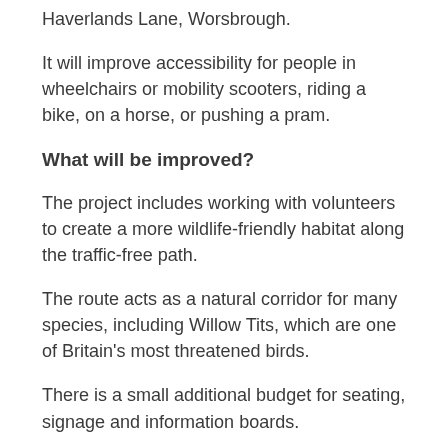Haverlands Lane, Worsbrough.
It will improve accessibility for people in wheelchairs or mobility scooters, riding a bike, on a horse, or pushing a pram.
What will be improved?
The project includes working with volunteers to create a more wildlife-friendly habitat along the traffic-free path.
The route acts as a natural corridor for many species, including Willow Tits, which are one of Britain's most threatened birds.
There is a small additional budget for seating, signage and information boards.
The partnership wants to hear from local people about